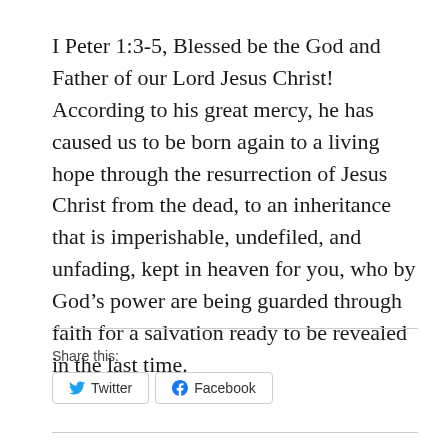I Peter 1:3-5, Blessed be the God and Father of our Lord Jesus Christ! According to his great mercy, he has caused us to be born again to a living hope through the resurrection of Jesus Christ from the dead, to an inheritance that is imperishable, undefiled, and unfading, kept in heaven for you, who by God’s power are being guarded through faith for a salvation ready to be revealed in the last time.
Share this: